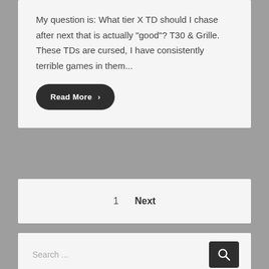My question is: What tier X TD should I chase after next that is actually "good"? T30 & Grille. These TDs are cursed, I have consistently terrible games in them...
Read More ›
1   Next
Search ...